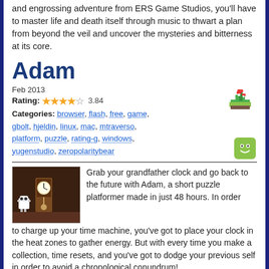and engrossing adventure from ERS Game Studios, you'll have to master life and death itself through music to thwart a plan from beyond the veil and uncover the mysteries and bitterness at its core.
Adam
Feb 2013
Rating: ★★★★☆ 3.84
Categories: browser, flash, free, game, gbolt, hjeldin, linux, mac, mtraverso, platform, puzzle, rating-g, windows, yugenstudio, zeropolaritybear
Grab your grandfather clock and go back to the future with Adam, a short puzzle platformer made in just 48 hours. In order to charge up your time machine, you've got to place your clock in the heat zones to gather energy. But with every time you make a collection, time resets, and you've got to dodge your previous self in order to avoid a chronological conundrum!